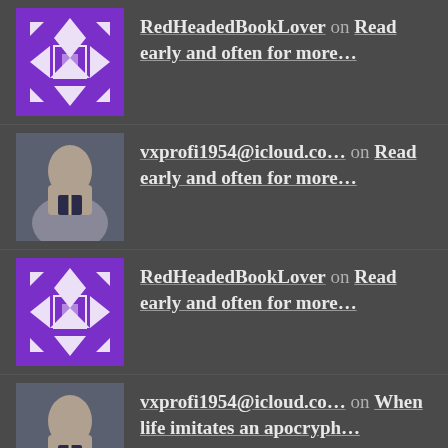RedHeadedBookLover on Read early and often for more...
vxprofi954@icloud.co... on Read early and often for more...
RedHeadedBookLover on Read early and often for more...
vxprofi954@icloud.co... on When life imitates an apocryph...
Lucy Carter on When life imitates an apocryph...
Archives